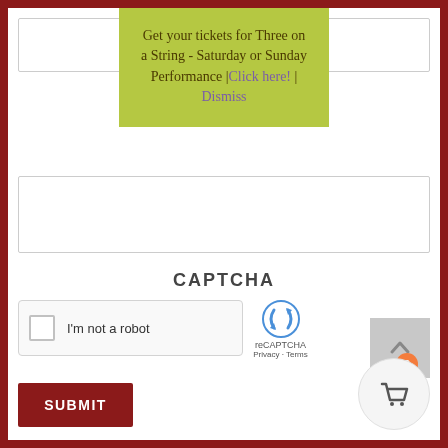Get your tickets for Three on a String - Saturday or Sunday Performance | Click here! | Dismiss
[Figure (screenshot): reCAPTCHA widget with checkbox labeled I'm not a robot, reCAPTCHA logo, Privacy and Terms links]
CAPTCHA
SUBMIT